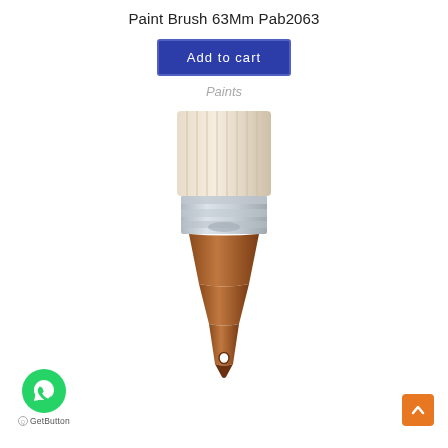Paint Brush 63Mm Pab2063
Add to cart
Paints
[Figure (photo): A paint brush with white bristles, a silver metal ferrule, and a brown wooden handle with a hole near the bottom tip.]
[Figure (logo): WhatsApp button (green circle with phone icon) with GetButton label below]
[Figure (other): Orange scroll-to-top button with upward chevron arrow]